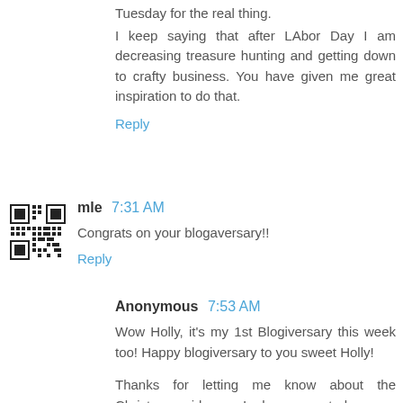Tuesday for the real thing.
I keep saying that after LAbor Day I am decreasing treasure hunting and getting down to crafty business. You have given me great inspiration to do that.
Reply
mle 7:31 AM
Congrats on your blogaversary!!
Reply
Anonymous 7:53 AM
Wow Holly, it's my 1st Blogiversary this week too! Happy blogiversary to you sweet Holly!
Thanks for letting me know about the Christmas ideas. I have posted some Christmas ideas too!
Best wishes and thanks for having me,
Natasha.